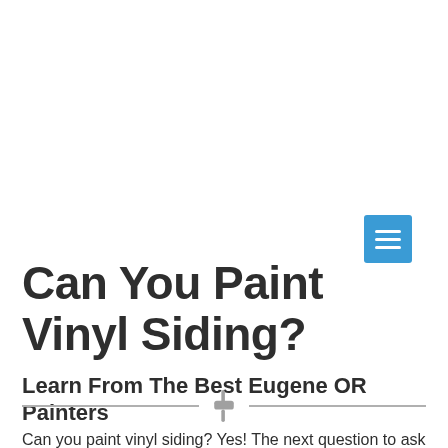[Figure (other): Blue hamburger menu button with three white horizontal lines]
Can You Paint Vinyl Siding?
Learn From The Best Eugene OR Painters
[Figure (illustration): Paint roller icon in gray, centered between two horizontal divider lines]
Can you paint vinyl siding? Yes! The next question to ask